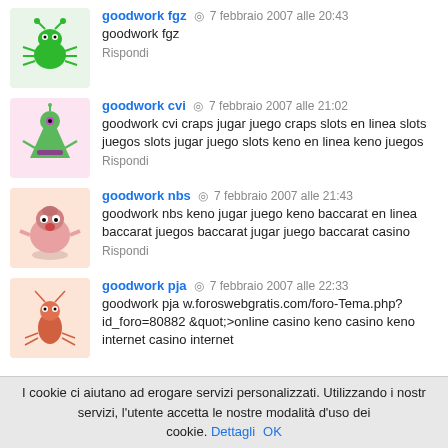goodwork fgz · 7 febbraio 2007 alle 20:43
goodwork fgz
Rispondi
goodwork cvi · 7 febbraio 2007 alle 21:02
goodwork cvi craps jugar juego craps slots en linea slots juegos slots jugar juego slots keno en linea keno juegos
Rispondi
goodwork nbs · 7 febbraio 2007 alle 21:43
goodwork nbs keno jugar juego keno baccarat en linea baccarat juegos baccarat jugar juego baccarat casino
Rispondi
goodwork pja · 7 febbraio 2007 alle 22:33
goodwork pja w.foroswebgratis.com/foro-Tema.php?id_foro=80882 &quot;>online casino keno casino keno internet casino internet
I cookie ci aiutano ad erogare servizi personalizzati. Utilizzando i nostri servizi, l'utente accetta le nostre modalità d'uso dei cookie. Dettagli OK